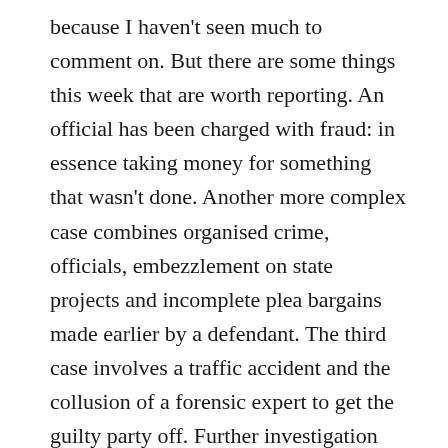because I haven't seen much to comment on. But there are some things this week that are worth reporting. An official has been charged with fraud: in essence taking money for something that wasn't done. Another more complex case combines organised crime, officials, embezzlement on state projects and incomplete plea bargains made earlier by a defendant. The third case involves a traffic accident and the collusion of a forensic expert to get the guilty party off. Further investigation revealed the fake forensic report but the punishment of the expert appears to be trivial. Details are at Southfront. Probably the most interesting case is that of Ivan Golunov. a reporter specialising in corruption stories. He was arrested on drug charges on Friday; immediately his lawyer said the drugs were